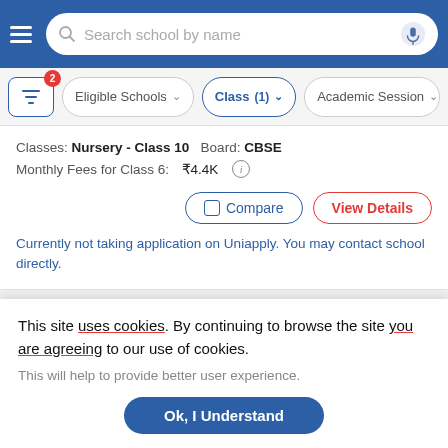Search school by name
Eligible Schools | Class (1) | Academic Session
Classes: Nursery - Class 10   Board: CBSE
Monthly Fees for Class 6: ₹4.4K
Compare | View Details
Currently not taking application on Uniapply. You may contact school directly.
[Figure (photo): Partial exterior view of a school building, with a heart/like badge showing 10]
This site uses cookies. By continuing to browse the site you are agreeing to our use of cookies.
This will help to provide better user experience.
Ok, I Understand